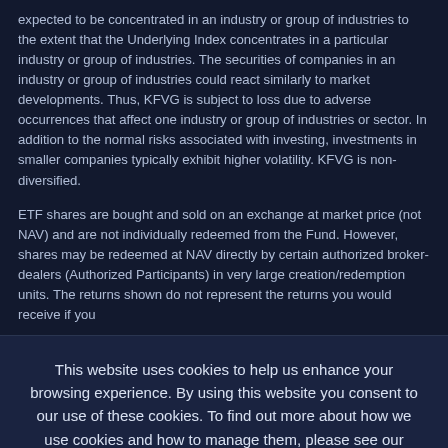expected to be concentrated in an industry or group of industries to the extent that the Underlying Index concentrates in a particular industry or group of industries. The securities of companies in an industry or group of industries could react similarly to market developments. Thus, KFVG is subject to loss due to adverse occurrences that affect one industry or group of industries or sector. In addition to the normal risks associated with investing, investments in smaller companies typically exhibit higher volatility. KFVG is non-diversified.
ETF shares are bought and sold on an exchange at market price (not NAV) and are not individually redeemed from the Fund. However, shares may be redeemed at NAV directly by certain authorized broker-dealers (Authorized Participants) in very large creation/redemption units. The returns shown do not represent the returns you would receive if you
This website uses cookies to help us enhance your browsing experience. By using this website you consent to our use of these cookies. To find out more about how we use cookies and how to manage them, please see our Terms & Conditions and Privacy Policy.